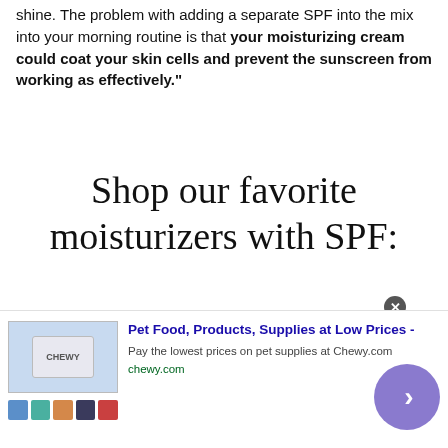shine. The problem with adding a separate SPF into the mix into your morning routine is that your moisturizing cream could coat your skin cells and prevent the sunscreen from working as effectively."
Shop our favorite moisturizers with SPF:
[Figure (other): Advertisement banner for Chewy.com: Pet Food, Products, Supplies at Low Prices. Shows product images, description text and a purple arrow button.]